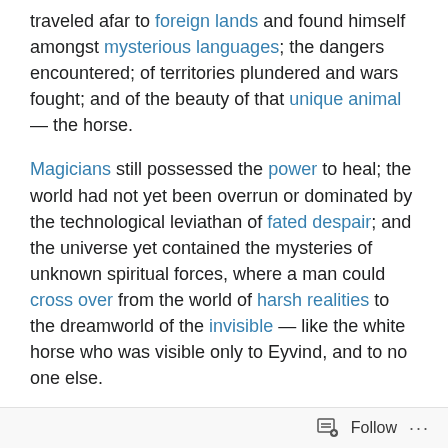traveled afar to foreign lands and found himself amongst mysterious languages; the dangers encountered; of territories plundered and wars fought; and of the beauty of that unique animal — the horse.
Magicians still possessed the power to heal; the world had not yet been overrun or dominated by the technological leviathan of fated despair; and the universe yet contained the mysteries of unknown spiritual forces, where a man could cross over from the world of harsh realities to the dreamworld of the invisible — like the white horse who was visible only to Eyvind, and to no one else.
Every now and again, one comes across that special little book which grabs you and where you cannot put it
Follow ···